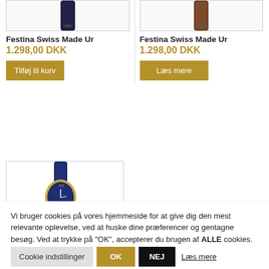[Figure (photo): Watch with dark blue/navy strap, top portion cropped]
[Figure (photo): Watch with brown leather strap, top portion cropped]
Festina Swiss Made Ur
1.298,00 DKK
Tilføj til kurv
Festina Swiss Made Ur
1.298,00 DKK
Læs mere
[Figure (photo): Watch with blue dial and blue leather strap with gold case]
Vi bruger cookies på vores hjemmeside for at give dig den mest relevante oplevelse, ved at huske dine præferencer og gentagne besøg. Ved at trykke på "OK", accepterer du brugen af ALLE cookies.
Cookie indstillinger
OK
NEJ
Læs mere